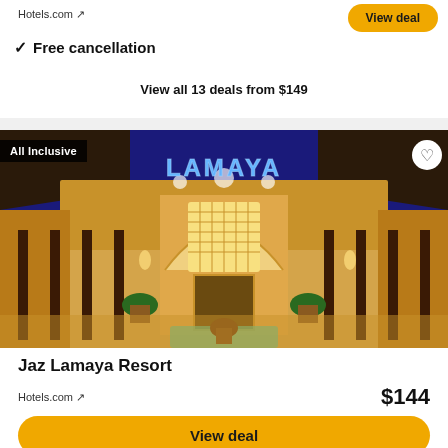Hotels.com ↗
✓ Free cancellation
View all 13 deals from $149
[Figure (photo): Exterior night photo of Jaz Lamaya Resort entrance with illuminated LAMAYA sign, columns, and Moorish arch doorway]
Jaz Lamaya Resort
Hotels.com ↗
$144
View deal